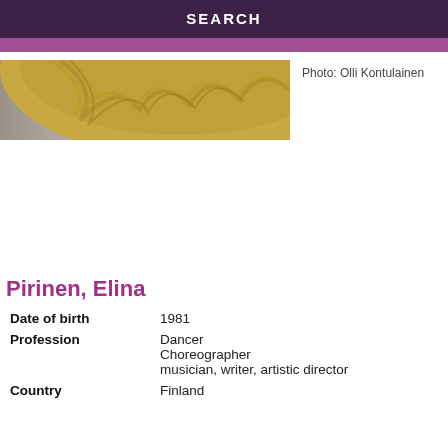SEARCH
[Figure (photo): Partial photo of a person with braided blonde hair, photo credit: Olli Kontulainen]
Photo: Olli Kontulainen
Pirinen, Elina
| Date of birth | 1981 |
| Profession | Dancer
Choreographer
musician, writer, artistic director |
| Country | Finland |